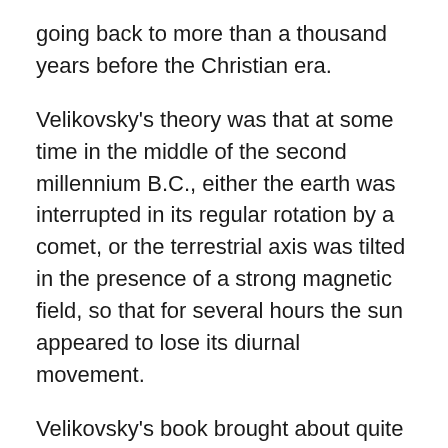going back to more than a thousand years before the Christian era.
Velikovsky's theory was that at some time in the middle of the second millennium B.C., either the earth was interrupted in its regular rotation by a comet, or the terrestrial axis was tilted in the presence of a strong magnetic field, so that for several hours the sun appeared to lose its diurnal movement.
Velikovsky's book brought about quite a bit of discussion on this topic. “The Day The Sun Stood Still,” by Eric Larabee was published in Harper’s in January of 1950. It was reprinted in the Minneapolis Sunday Tribune on February 5 of that year, with the comment